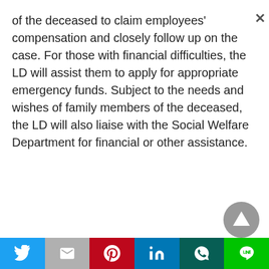of the deceased to claim employees' compensation and closely follow up on the case. For those with financial difficulties, the LD will assist them to apply for appropriate emergency funds. Subject to the needs and wishes of family members of the deceased, the LD will also liaise with the Social Welfare Department for financial or other assistance.
[Figure (other): Grey circular scroll-to-top button with upward triangle arrow]
[Figure (other): Social sharing bar with Twitter, Gmail, Pinterest, LinkedIn, WhatsApp, and LINE buttons]